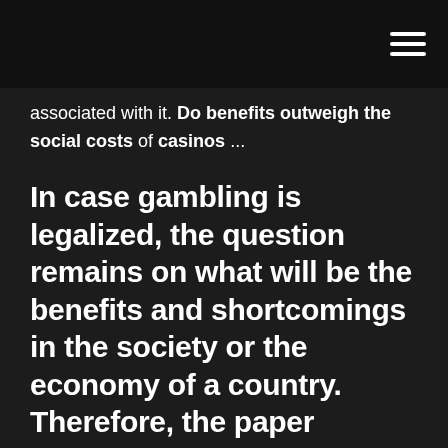☰
associated with it. Do benefits outweigh the social costs of casinos ...
In case gambling is legalized, the question remains on what will be the benefits and shortcomings in the society or the economy of a country. Therefore, the paper outlines the possible pros and cons associated with legalization of gambling. Pros of Legalizing Gambling. First, fully legalized gambling will bring economic